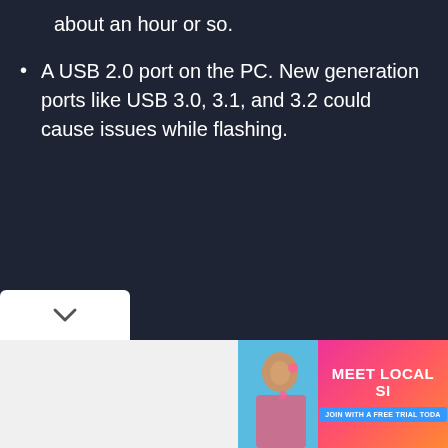about an hour or so.
A USB 2.0 port on the PC. New generation ports like USB 3.0, 3.1, and 3.2 could cause issues while flashing.
[Figure (other): Advertisement banner with text 'MEET LOCAL SI' and 'JOIN WITH A FREE TRIAL TODA' with a woman's photo on the left side, colorful pink/orange gradient background]